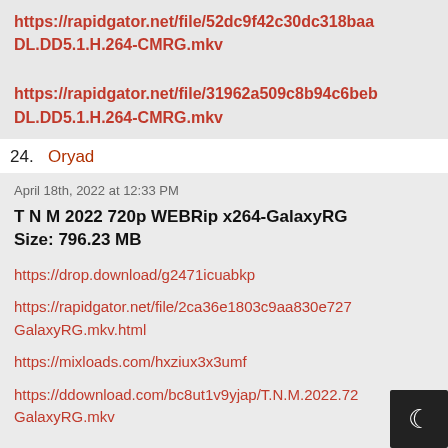https://rapidgator.net/file/52dc9f42c30dc318baa... DL.DD5.1.H.264-CMRG.mkv
https://rapidgator.net/file/31962a509c8b94c6beb... DL.DD5.1.H.264-CMRG.mkv
24. Oryad
April 18th, 2022 at 12:33 PM
T N M 2022 720p WEBRip x264-GalaxyRG
Size: 796.23 MB
https://drop.download/g2471icuabkp
https://rapidgator.net/file/2ca36e1803c9aa830e727... GalaxyRG.mkv.html
https://mixloads.com/hxziux3x3umf
https://ddownload.com/bc8ut1v9yjap/T.N.M.2022.72... GalaxyRG.mkv
T N M 2022 1080p WEBRip DD5.1 x264-